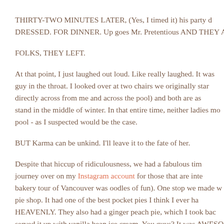THIRTY-TWO MINUTES LATER, (Yes, I timed it) his party d... DRESSED. FOR DINNER. Up goes Mr. Pretentious AND THEY A...
FOLKS, THEY LEFT.
At that point, I just laughed out loud. Like really laughed. It was... guy in the throat. I looked over at two chairs we originally star... directly across from me and across the pool) and both are as... stand in the middle of winter. In that entire time, neither ladies mo... pool - as I suspected would be the case.
BUT Karma can be unkind. I'll leave it to the fate of her.
Despite that hiccup of ridiculousness, we had a fabulous tim... journey over on my Instagram account for those that are inte... bakery tour of Vancouver was oodles of fun). One stop we made w... pie shop. It had one of the best pocket pies I think I ever ha... HEAVENLY. They also had a ginger peach pie, which I took bac... served it up with vanilla bean ice cream. You guys? It was AWESO...
And you know what?